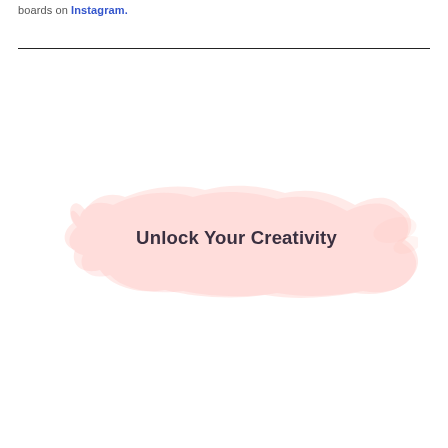boards on Instagram.
[Figure (illustration): Pink watercolor brush stroke background with bold text 'Unlock Your Creativity' centered on top of it]